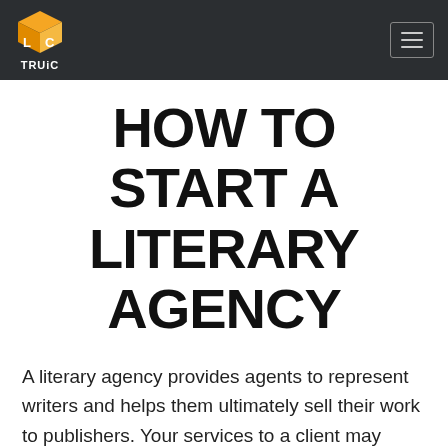TRUiC
HOW TO START A LITERARY AGENCY
A literary agency provides agents to represent writers and helps them ultimately sell their work to publishers. Your services to a client may extend beyond their initial publication. For instance, you or